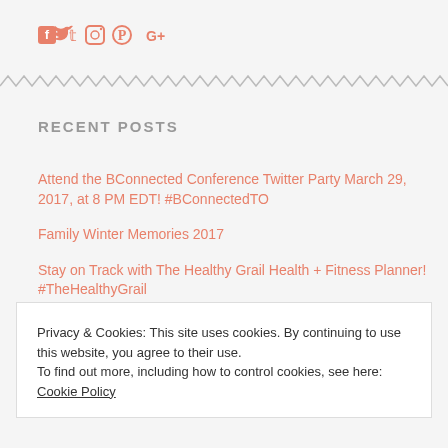[Figure (infographic): Social media icons: Facebook, Twitter, Instagram, Pinterest, Google+]
RECENT POSTS
Attend the BConnected Conference Twitter Party March 29, 2017, at 8 PM EDT! #BConnectedTO
Family Winter Memories 2017
Stay on Track with The Healthy Grail Health + Fitness Planner! #TheHealthyGrail
An Awesome Assistant at Hand with JOBY GorillaPods!
Privacy & Cookies: This site uses cookies. By continuing to use this website, you agree to their use.
To find out more, including how to control cookies, see here: Cookie Policy
Close and accept